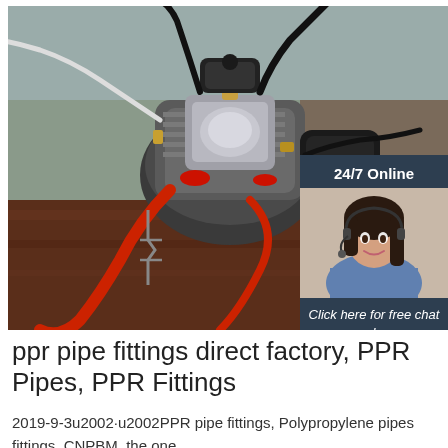[Figure (photo): Close-up photo of an industrial air compressor or pump with multiple colored hoses (black, red, white) and metal fittings on a wooden surface, with a chat widget overlay in the bottom-right showing a woman with a headset and 24/7 Online service options]
ppr pipe fittings direct factory, PPR Pipes, PPR Fittings
2019-9-3u2002·u2002PPR pipe fittings, Polypropylene pipes fittings, CNPBM, the one